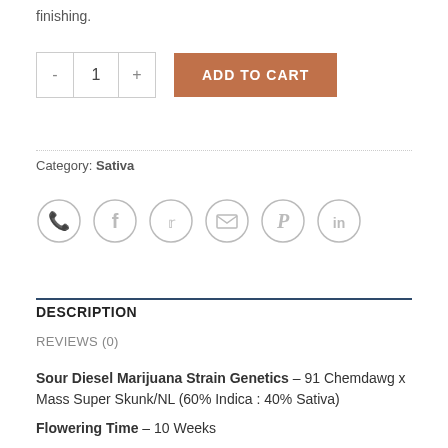finishing.
[Figure (other): Add to cart section with quantity selector showing '-', '1', '+' buttons and an orange 'ADD TO CART' button]
Category: Sativa
[Figure (other): Social sharing icons: WhatsApp, Facebook, Twitter, Email, Pinterest, LinkedIn — all grey circles with icons]
DESCRIPTION
REVIEWS (0)
Sour Diesel Marijuana Strain Genetics – 91 Chemdawg x Mass Super Skunk/NL (60% Indica : 40% Sativa)
Flowering Time – 10 Weeks